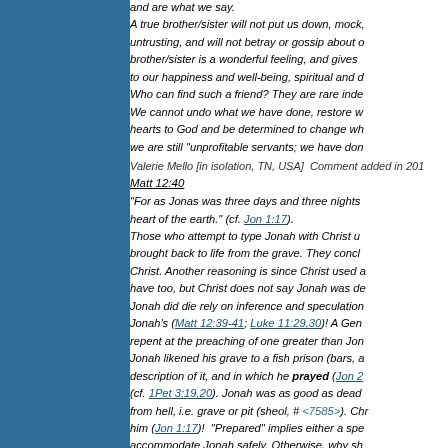and are what we say. A true brother/sister will not put us down, mock, untrusting, and will not betray or gossip about our brother/sister is a wonderful feeling, and gives to our happiness and well-being, spiritual and d... Who can find such a friend? They are rare inde... We cannot undo what we have done, restore w... hearts to God and be determined to change wh... we are still "unprofitable servants; we have don...
Valerie Mello [in isolation, TN, USA] Comment added in 201... Matt 12:40
"For as Jonas was three days and three nights... heart of the earth." (cf. Jon 1:17). Those who attempt to type Jonah with Christ u... brought back to life from the grave. They concl... Christ. Another reasoning is since Christ used ... have too, but Christ does not say Jonah was d... Jonah did die rely on inference and speculation Jonah's (Matt 12:39-41; Luke 11:29,30)! A Gen... repent at the preaching of one greater than Jon... Jonah likened his grave to a fish prison (bars,  ... description of it, and in which he prayed (Jon 2... (cf. 1Pet 3:19,20). Jonah was as good as dead... from hell, i.e. grave or pit (sheol, # <7585>). Chr... him (Jon 1:17)! "Prepared" implies either a spe... accommodate Jonah safely. Otherwise, why sh... To be vomited out is hardly a true depiction of a... It is a nauseating (pun intended) thought that th... that Jonah was "a wonderful representation of ... destroyed because Israel suffered terrible crue...